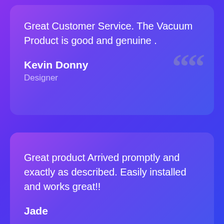Great Customer Service. The Vacuum Product is good and genuine .
Kevin Donny
Designer
Great product Arrived promptly and exactly as described. Easily installed and works great!!
Jade